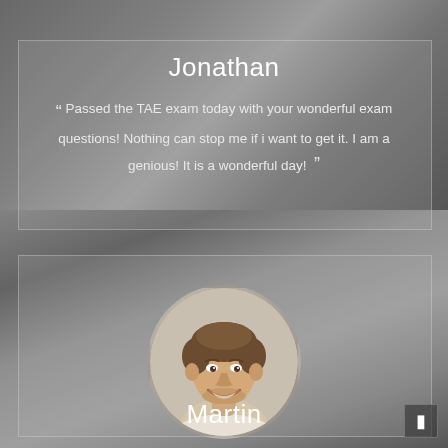Jonathan
“ Passed the TAE exam today with your wonderful exam questions! Nothing can stop me if i want to get it. I am a genious! It is a wonderful day! ”
[Figure (photo): Circular portrait photo of a smiling young man]
Martin